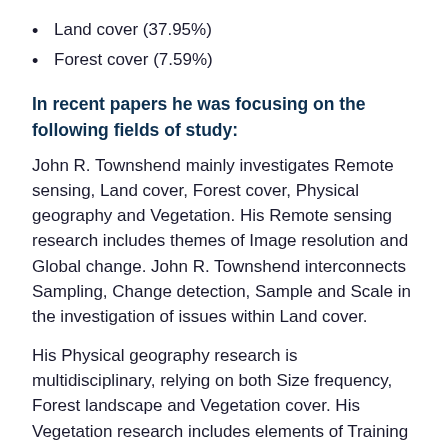Land cover (37.95%)
Forest cover (7.59%)
In recent papers he was focusing on the following fields of study:
John R. Townshend mainly investigates Remote sensing, Land cover, Forest cover, Physical geography and Vegetation. His Remote sensing research includes themes of Image resolution and Global change. John R. Townshend interconnects Sampling, Change detection, Sample and Scale in the investigation of issues within Land cover.
His Physical geography research is multidisciplinary, relying on both Size frequency, Forest landscape and Vegetation cover. His Vegetation research includes elements of Training set, Environmental change, Spectroradiometer, Protected area and Moderate-resolution imaging.